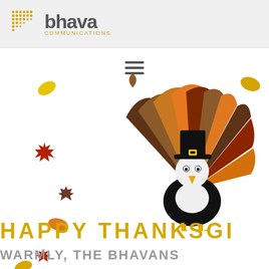bhava COMMUNICATIONS
[Figure (illustration): Hamburger/menu icon (three horizontal lines) centered at top of content area]
[Figure (illustration): Cartoon Thanksgiving turkey with colorful fan tail in brown, orange, red, and dark brown feathers, wearing a pilgrim hat, with white body and yellow beak, surrounded by falling autumn leaves in yellow, red, orange, and brown]
HAPPY THANKSGIVING
WARMLY, THE BHAVANS